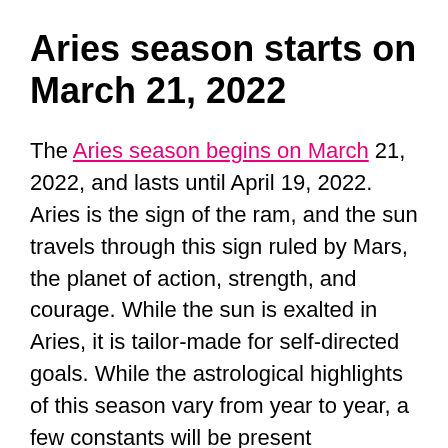Aries season starts on March 21, 2022
The Aries season begins on March 21, 2022, and lasts until April 19, 2022. Aries is the sign of the ram, and the sun travels through this sign ruled by Mars, the planet of action, strength, and courage. While the sun is exalted in Aries, it is tailor-made for self-directed goals. While the astrological highlights of this season vary from year to year, a few constants will be present throughout.
The Aries season lasts from March 21 to April 19, and is characterized by three prominent